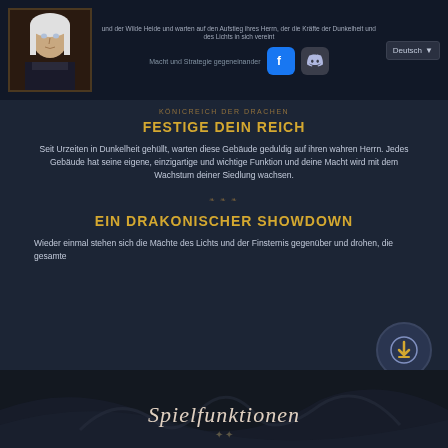Navigation bar with avatar, social links (Facebook, Discord), language selector (Deutsch)
FESTIGE DEIN REICH
Seit Urzeiten in Dunkelheit gehüllt, warten diese Gebäude geduldig auf ihren wahren Herrn. Jedes Gebäude hat seine eigene, einzigartige und wichtige Funktion und deine Macht wird mit dem Wachstum deiner Siedlung wachsen.
EIN DRAKONISCHER SHOWDOWN
Wieder einmal stehen sich die Mächte des Lichts und der Finsternis gegenüber und drohen, die gesamte
Spielfunktionen